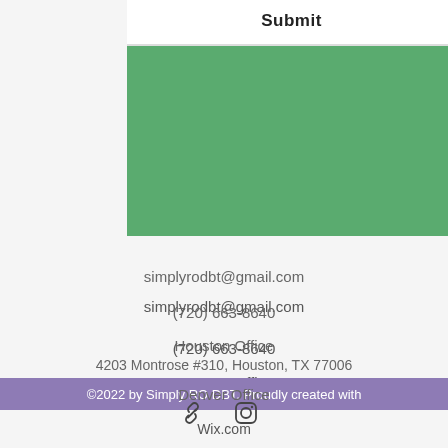Submit
simplyrodbt@gmail.com
(720) 663-8640
Houston Office
4203 Montrose #310, Houston, TX 77006
Denver Office
612 N Washington St #102, Denver, CO 80203
[Figure (illustration): Link and Instagram social media icons]
©2022 by Simply RO DBT. Proudly created with Wix.com